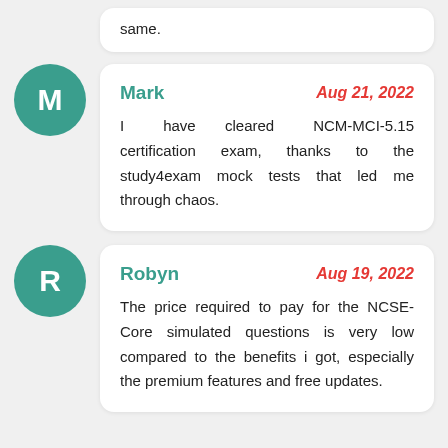same.
Mark
Aug 21, 2022
I have cleared NCM-MCI-5.15 certification exam, thanks to the study4exam mock tests that led me through chaos.
Robyn
Aug 19, 2022
The price required to pay for the NCSE-Core simulated questions is very low compared to the benefits i got, especially the premium features and free updates.